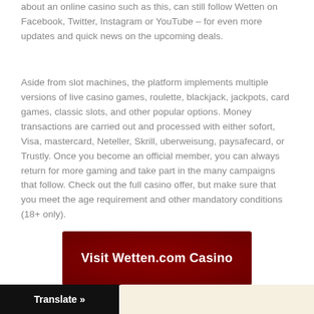about an online casino such as this, can still follow Wetten on Facebook, Twitter, Instagram or YouTube – for even more updates and quick news on the upcoming deals.
Aside from slot machines, the platform implements multiple versions of live casino games, roulette, blackjack, jackpots, card games, classic slots, and other popular options. Money transactions are carried out and processed with either sofort, Visa, mastercard, Neteller, Skrill, uberweisung, paysafecard, or Trustly. Once you become an official member, you can always return for more gaming and take part in the many campaigns that follow. Check out the full casino offer, but make sure that you meet the age requirement and other mandatory conditions (18+ only).
[Figure (other): Red button with white bold text reading 'Visit Wetten.com Casino']
Translate »